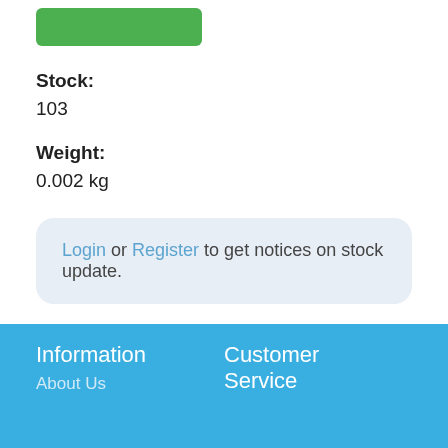[Figure (other): Green button/badge at top left]
Stock:
103
Weight:
0.002 kg
Login or Register to get notices on stock update.
Information
About Us
Customer Service